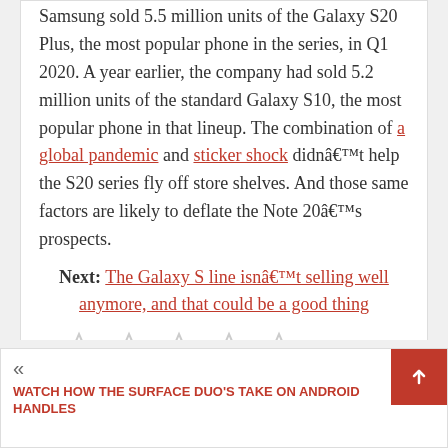Samsung sold 5.5 million units of the Galaxy S20 Plus, the most popular phone in the series, in Q1 2020. A year earlier, the company had sold 5.2 million units of the standard Galaxy S10, the most popular phone in that lineup. The combination of a global pandemic and sticker shock didnâ€™t help the S20 series fly off store shelves. And those same factors are likely to deflate the Note 20â€™s prospects.
Next: The Galaxy S line isnâ€™t selling well anymore, and that could be a good thing
[Figure (other): Five empty star rating icons (grey outlines)]
No votes yet.
« WATCH HOW THE SURFACE DUO'S TAKE ON ANDROID HANDLES